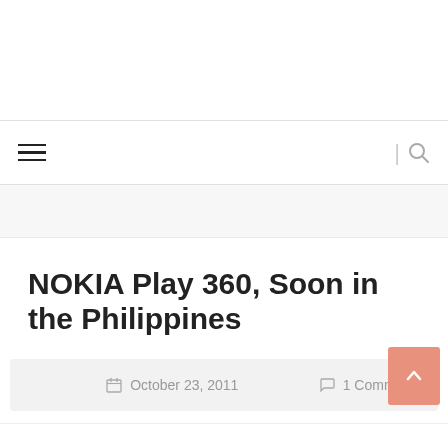Navigation bar with hamburger menu and search icon
NOKIA Play 360, Soon in the Philippines
October 23, 2011   1 Comments